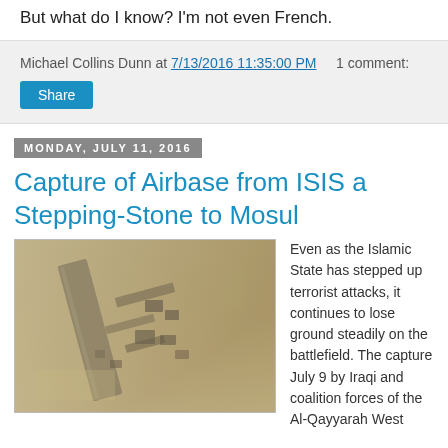But what do I know? I'm not even French.
Michael Collins Dunn at 7/13/2016 11:35:00 PM   1 comment:
Share
Monday, July 11, 2016
Capture of Airbase from ISIS a Stepping-Stone to Mosul
[Figure (photo): Satellite aerial photograph of Al-Qayyarah West airbase, showing runway and structures from above in desert/arid terrain.]
Even as the Islamic State has stepped up terrorist attacks, it continues to lose ground steadily on the battlefield. The capture July 9 by Iraqi and coalition forces of the Al-Qayyarah West